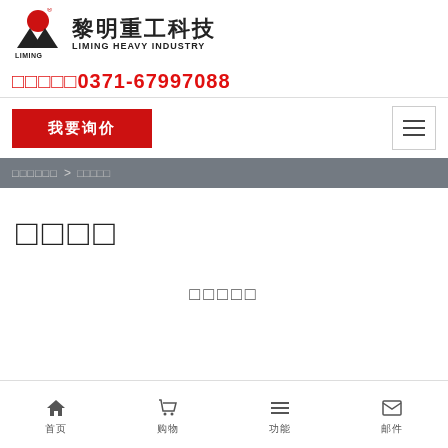[Figure (logo): Liming Heavy Industry logo with red circle, black mountain/triangle icon, Chinese characters 黎明重工科技 and English text LIMING HEAVY INDUSTRY]
□□□□□0371-67997088
我要询价
□□□□□□ > □□□□□
□□□□
□□□□□
首页  购物  功能  邮件